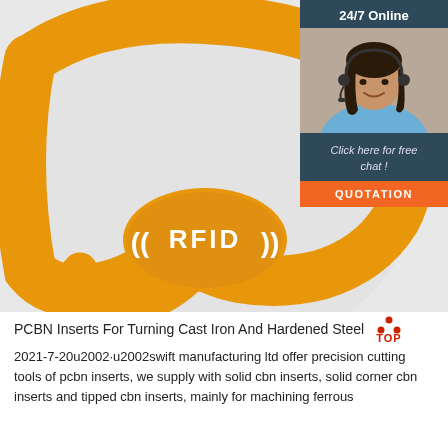[Figure (photo): Orange silicone RFID wristband with white RFID logo text on the oval face, shown on a white background. A customer service chat widget is overlaid in the upper right corner showing a woman with headset, '24/7 Online' text, 'Click here for free chat!' text, and an orange QUOTATION button.]
PCBN Inserts For Turning Cast Iron And Hardened Steel
2021-7-20u2002·u2002swift manufacturing ltd offer precision cutting tools of pcbn inserts, we supply with solid cbn inserts, solid corner cbn inserts and tipped cbn inserts, mainly for machining ferrous